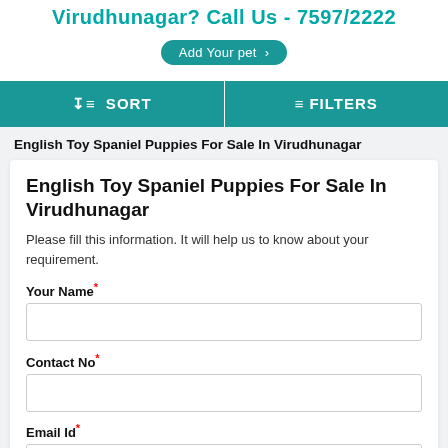Virudhunagar? Call Us - 7597/2222
Add Your pet >
SORT   FILTERS
English Toy Spaniel Puppies For Sale In Virudhunagar
English Toy Spaniel Puppies For Sale In Virudhunagar
Please fill this information. It will help us to know about your requirement.
Your Name*
Contact No*
Email Id*